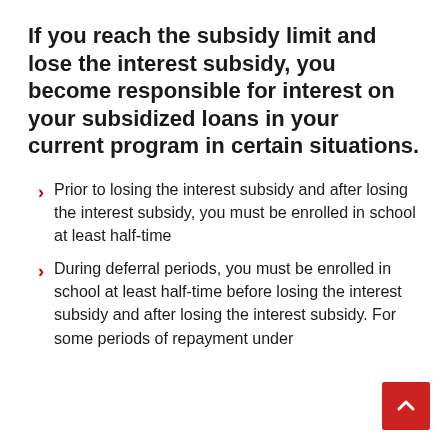If you reach the subsidy limit and lose the interest subsidy, you become responsible for interest on your subsidized loans in your current program in certain situations.
Prior to losing the interest subsidy and after losing the interest subsidy, you must be enrolled in school at least half-time
During deferral periods, you must be enrolled in school at least half-time before losing the interest subsidy and after losing the interest subsidy. For some periods of repayment under